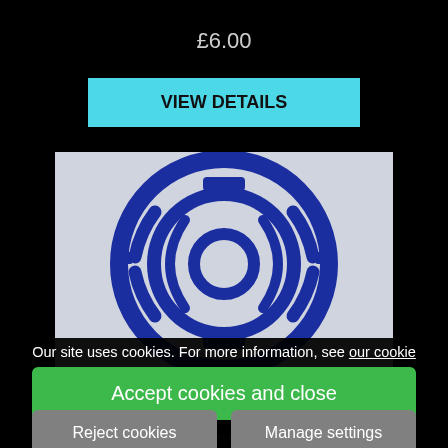£6.00
[Figure (screenshot): Blue Lantern Corps Logo badge/patch product image on a dark background]
Our site uses cookies. For more information, see our cookie policy.
Blue Lantern Corps Logo
Accept cookies and close
£4.00
Reject cookies
Manage settings